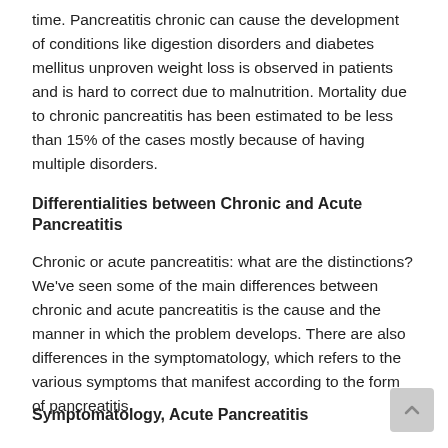time. Pancreatitis chronic can cause the development of conditions like digestion disorders and diabetes mellitus unproven weight loss is observed in patients and is hard to correct due to malnutrition. Mortality due to chronic pancreatitis has been estimated to be less than 15% of the cases mostly because of having multiple disorders.
Differentialities between Chronic and Acute Pancreatitis
Chronic or acute pancreatitis: what are the distinctions? We've seen some of the main differences between chronic and acute pancreatitis is the cause and the manner in which the problem develops. There are also differences in the symptomatology, which refers to the various symptoms that manifest according to the form of pancreatitis.
Symptomatology, Acute Pancreatitis